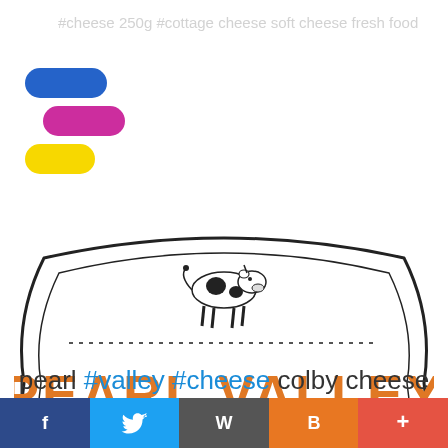[Figure (logo): Colorful pill/oval shapes logo: blue, pink/magenta, and yellow pills stacked on left side]
#cheese 250g #cottage cheese soft cheese fresh food
[Figure (logo): Pearl Valley Cheese logo: badge/shield shaped border with a black and white cow illustration at top, dotted line, large orange text PEARL VALLEY, red ribbon banner with white text + CHEESE +]
pearl #valley #cheese colby cheese
[Figure (infographic): Social media share bar with 5 buttons: Facebook (dark blue, f), Twitter (light blue, bird), WordPress (grey, W), Blogger (orange, B), Plus (red-orange, +)]